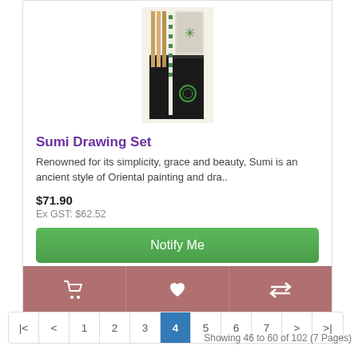[Figure (photo): Sumi Drawing Set product image showing brushes/tools in a box packaging]
Sumi Drawing Set
Renowned for its simplicity, grace and beauty, Sumi is an ancient style of Oriental painting and dra..
$71.90
Ex GST: $62.52
Notify Me
[Figure (infographic): Three action buttons: shopping cart, heart/wishlist, compare arrows]
|< < 1 2 3 4 5 6 7 > >|
Showing 46 to 60 of 102 (7 Pages)